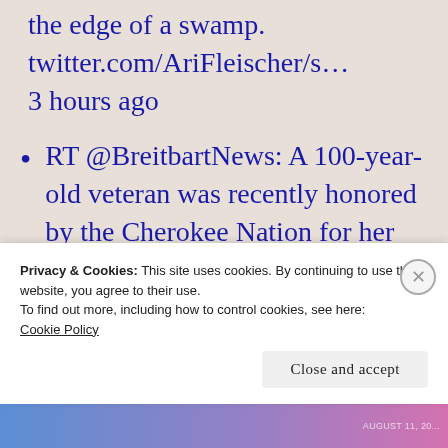the edge of a swamp. twitter.com/AriFleischer/s… 3 hours ago
RT @BreitbartNews: A 100-year-old veteran was recently honored by the Cherokee Nation for her service in the Women's
Privacy & Cookies: This site uses cookies. By continuing to use this website, you agree to their use. To find out more, including how to control cookies, see here: Cookie Policy